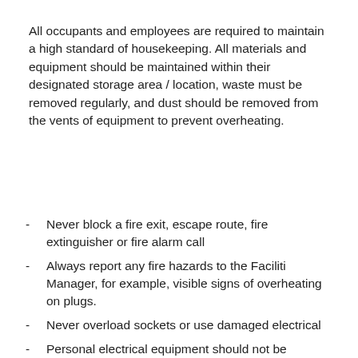All occupants and employees are required to maintain a high standard of housekeeping. All materials and equipment should be maintained within their designated storage area / location, waste must be removed regularly, and dust should be removed from the vents of equipment to prevent overheating.
Never block a fire exit, escape route, fire extinguisher or fire alarm call
Always report any fire hazards to the Facilities Manager, for example, visible signs of overheating on plugs.
Never overload sockets or use damaged electrical
Personal electrical equipment should not be